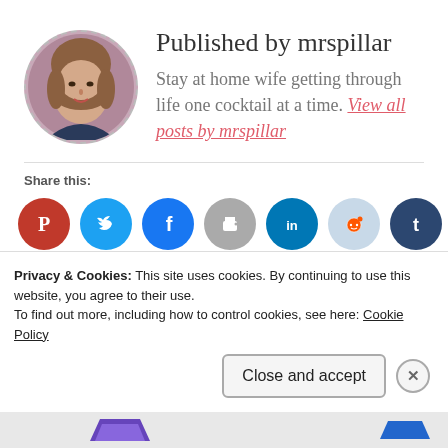Published by mrspillar
Stay at home wife getting through life one cocktail at a time. View all posts by mrspillar
Share this:
[Figure (infographic): Row of social share buttons: Pinterest (red), Twitter (blue), Facebook (blue), Print (grey), LinkedIn (teal), Reddit (light blue), Tumblr (dark blue)]
Privacy & Cookies: This site uses cookies. By continuing to use this website, you agree to their use.
To find out more, including how to control cookies, see here: Cookie Policy
Close and accept